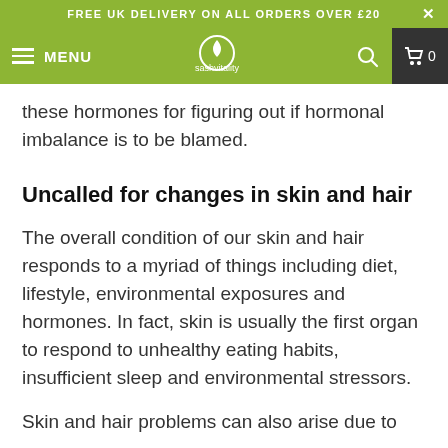FREE UK DELIVERY ON ALL ORDERS OVER £20
sashvitality MENU
these hormones for figuring out if hormonal imbalance is to be blamed.
Uncalled for changes in skin and hair
The overall condition of our skin and hair responds to a myriad of things including diet, lifestyle, environmental exposures and hormones. In fact, skin is usually the first organ to respond to unhealthy eating habits, insufficient sleep and environmental stressors.
Skin and hair problems can also arise due to